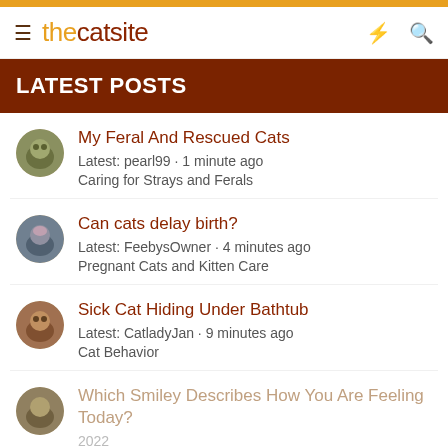thecatsite
LATEST POSTS
My Feral And Rescued Cats
Latest: pearl99 · 1 minute ago
Caring for Strays and Ferals
Can cats delay birth?
Latest: FeebysOwner · 4 minutes ago
Pregnant Cats and Kitten Care
Sick Cat Hiding Under Bathtub
Latest: CatladyJan · 9 minutes ago
Cat Behavior
Which Smiley Describes How You Are Feeling Today?
2022
Latest: cassiopea · 17 minutes ago
The Cat Lounge